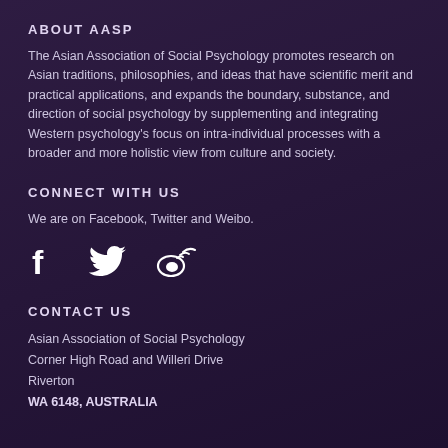ABOUT AASP
The Asian Association of Social Psychology promotes research on Asian traditions, philosophies, and ideas that have scientific merit and practical applications, and expands the boundary, substance, and direction of social psychology by supplementing and integrating Western psychology's focus on intra-individual processes with a broader and more holistic view from culture and society.
CONNECT WITH US
We are on Facebook, Twitter and Weibo.
[Figure (illustration): Social media icons: Facebook (f), Twitter (bird), Weibo (stylized icon with signal waves)]
CONTACT US
Asian Association of Social Psychology
Corner High Road and Willeri Drive
Riverton
WA 6148, AUSTRALIA